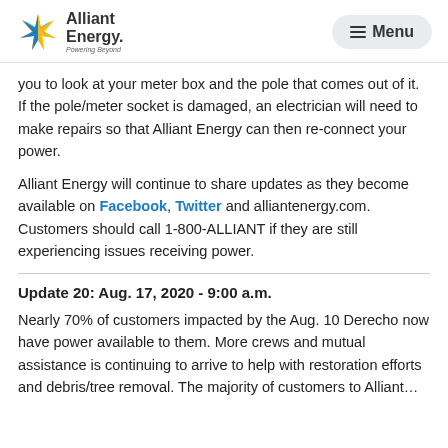Alliant Energy — Menu
you to look at your meter box and the pole that comes out of it. If the pole/meter socket is damaged, an electrician will need to make repairs so that Alliant Energy can then re-connect your power.
Alliant Energy will continue to share updates as they become available on Facebook, Twitter and alliantenergy.com. Customers should call 1-800-ALLIANT if they are still experiencing issues receiving power.
Update 20: Aug. 17, 2020 - 9:00 a.m.
Nearly 70% of customers impacted by the Aug. 10 Derecho now have power available to them. More crews and mutual assistance is continuing to arrive to help with restoration efforts and debris/tree removal. The majority of customers to Alliant... [continues]